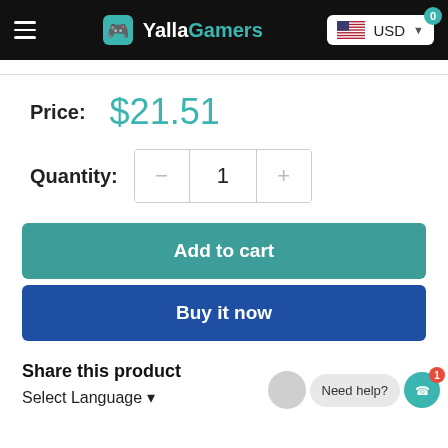YallaGamers — USD
Price: $21.51
Quantity: 1
Add to cart
Buy it now
Share this product
Select Language